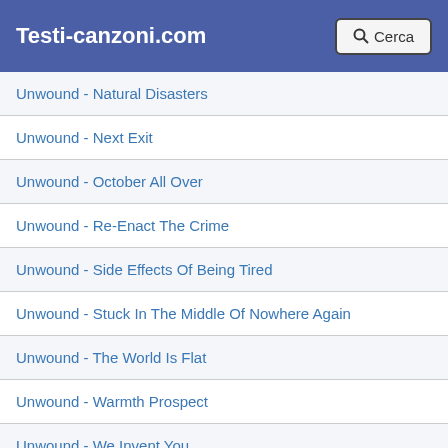Testi-canzoni.com  Cerca
Unwound - Natural Disasters
Unwound - Next Exit
Unwound - October All Over
Unwound - Re-Enact The Crime
Unwound - Side Effects Of Being Tired
Unwound - Stuck In The Middle Of Nowhere Again
Unwound - The World Is Flat
Unwound - Warmth Prospect
Unwound - We Invent You
Unwound - What Was Wound
Unwound - You Bite My Tongue